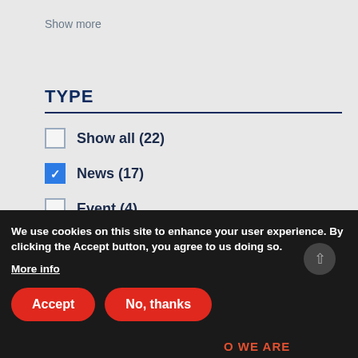Show more
TYPE
Show all (22)
News (17)
Event (4)
People (1)
We use cookies on this site to enhance your user experience. By clicking the Accept button, you agree to us doing so.
More info
Accept
No, thanks